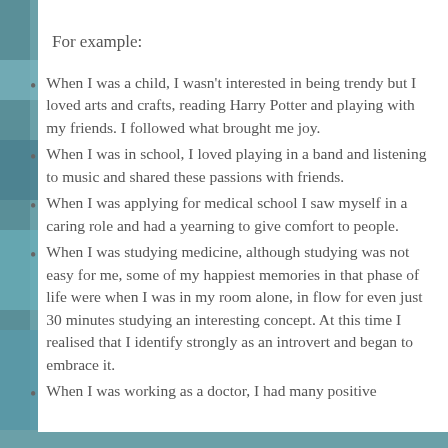For example:
When I was a child, I wasn't interested in being trendy but I loved arts and crafts, reading Harry Potter and playing with my friends. I followed what brought me joy.
When I was in school, I loved playing in a band and listening to music and shared these passions with friends.
When I was applying for medical school I saw myself in a caring role and had a yearning to give comfort to people.
When I was studying medicine, although studying was not easy for me, some of my happiest memories in that phase of life were when I was in my room alone, in flow for even just 30 minutes studying an interesting concept. At this time I realised that I identify strongly as an introvert and began to embrace it.
When I was working as a doctor, I had many positive